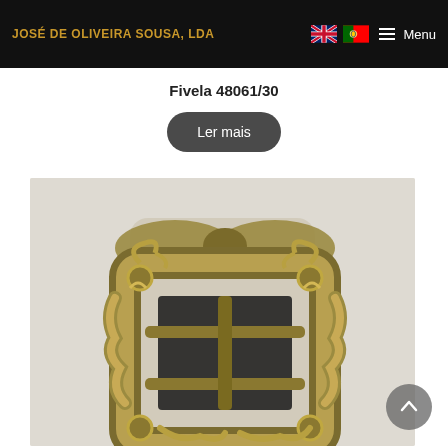JOSÉ DE OLIVEIRA SOUSA, LDA
Fivela 48061/30
Ler mais
[Figure (photo): Close-up photo of an ornate antique-gold brass belt buckle with decorative scrollwork and filigree design, square shaped with a central pin bar.]